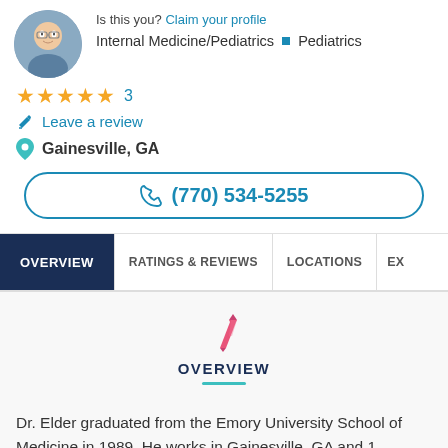Is this you? Claim your profile
Internal Medicine/Pediatrics • Pediatrics
★★★★★ 3
Leave a review
Gainesville, GA
(770) 534-5255
OVERVIEW
RATINGS & REVIEWS
LOCATIONS
EX
[Figure (illustration): Pink pen/quill icon above the OVERVIEW section header]
OVERVIEW
Dr. Elder graduated from the Emory University School of Medicine in 1989. He works in Gainesville, GA and 1